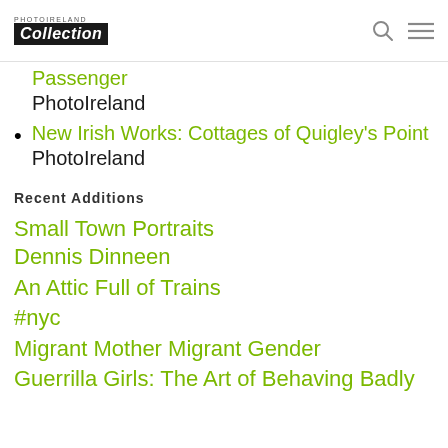PHOTOIRELAND Collection
Passenger
PhotoIreland
New Irish Works: Cottages of Quigley's Point
PhotoIreland
Recent Additions
Small Town Portraits
Dennis Dinneen
An Attic Full of Trains
#nyc
Migrant Mother Migrant Gender
Guerrilla Girls: The Art of Behaving Badly